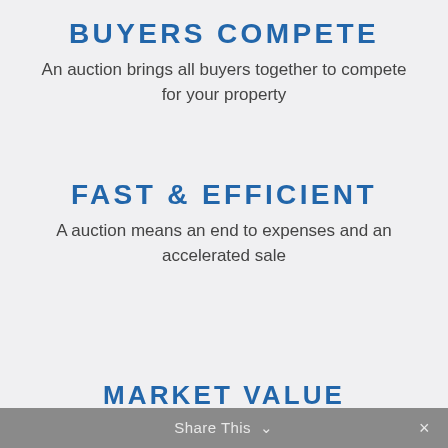BUYERS COMPETE
An auction brings all buyers together to compete for your property
FAST & EFFICIENT
A auction means an end to expenses and an accelerated sale
Share This ∨  ×
MARKET VALUE